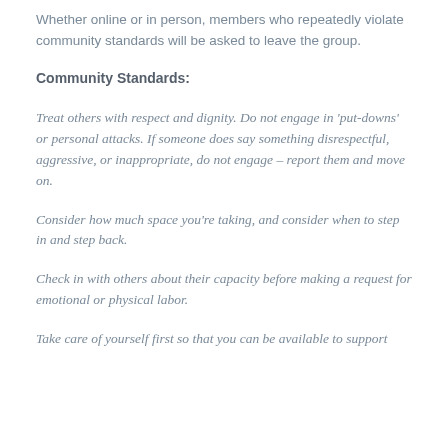Whether online or in person, members who repeatedly violate community standards will be asked to leave the group.
Community Standards:
Treat others with respect and dignity. Do not engage in 'put-downs' or personal attacks. If someone does say something disrespectful, aggressive, or inappropriate, do not engage – report them and move on.
Consider how much space you're taking, and consider when to step in and step back.
Check in with others about their capacity before making a request for emotional or physical labor.
Take care of yourself first so that you can be available to support